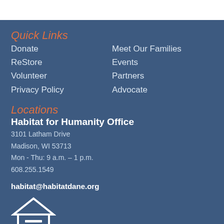Quick Links
Donate
ReStore
Volunteer
Privacy Policy
Meet Our Families
Events
Partners
Advocate
Locations
Habitat for Humanity Office
3101 Latham Drive
Madison, WI 53713
Mon - Thu: 9 a.m. – 1 p.m.
608.255.1549
habitat@habitatdane.org
[Figure (logo): Equal Housing Opportunity logo — house outline with equals sign inside, text EQUAL HOUSING below]